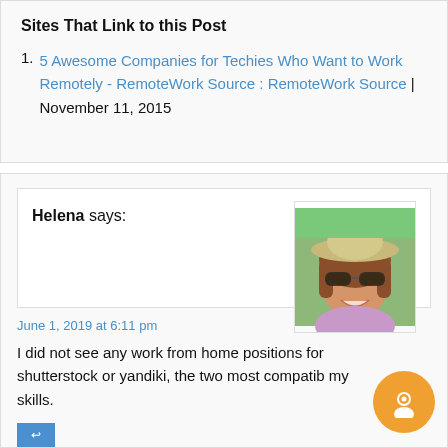Sites That Link to this Post
5 Awesome Companies for Techies Who Want to Work Remotely - RemoteWork Source : RemoteWork Source | November 11, 2015
Helena says:
[Figure (photo): A woman wearing sunglasses and a hat, smiling outdoors]
June 1, 2019 at 6:11 pm
I did not see any work from home positions for shutterstock or yandiki, the two most compatib my skills.